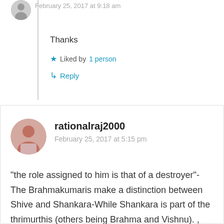February 25, 2017 at 9:18 am
Thanks
★ Liked by 1 person
↳ Reply
rationalraj2000
February 25, 2017 at 5:15 pm
“the role assigned to him is that of a destroyer”- The Brahmakumaris make a distinction between Shive and Shankara-While Shankara is part of the thrimurthis (others being Brahma and Vishnu). , Shiva is a formless light paramatma who is above